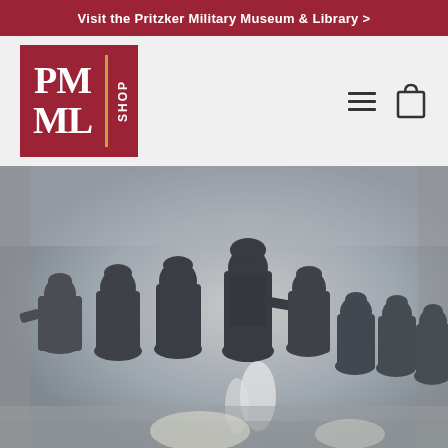Visit the Pritzker Military Museum & Library >
[Figure (logo): PMML Shop logo — red square with white serif letters PM over ML, gold vertical divider, white SHOP text rotated vertically]
[Figure (photo): Silhouettes of military soldiers in combat gear standing against a dusty grey background, viewed from behind]